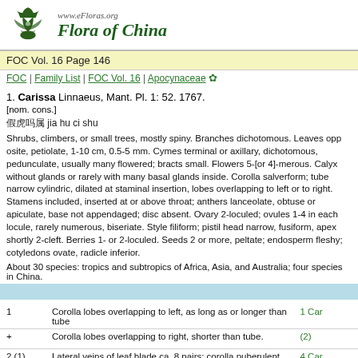www.eFloras.org Flora of China
FOC Vol. 16 Page 146
FOC | Family List | FOC Vol. 16 | Apocynaceae
1. Carissa Linnaeus, Mant. Pl. 1: 52. 1767. [nom. cons.]
假虎刺属 jia hu ci shu
Shrubs, climbers, or small trees, mostly spiny. Branches dichotomous. Leaves opposite, petiolate, 1-10 cm, 0.5-5 mm. Cymes terminal or axillary, dichotomous, pedunculate, usually many flowered; bracts small. Flowers 5-[or 4]-merous. Calyx without glands or rarely with many basal glands inside. Corolla salverform; tube narrow cylindric, dilated at staminal insertion, lobes overlapping to left or to right. Stamens included, inserted at or above throat; anthers lanceolate, obtuse or apiculate, base not appendaged; disc absent. Ovary 2-loculed or incompletely so; ovules 1-4 in each locule, rarely numerous, biseriate. Style filiform; pistil head narrowly cylindric, base annular, apex fusiform, apex shortly 2-cleft. Berries 1- or 2-loculed. Seeds 2 or more, peltate; endosperm fleshy, thin; embryo small; cotyledons ovate, radicle inferior.
About 30 species: tropics and subtropics of Africa, Asia, and Australia; four species in China.
|  | Description | Ref |
| --- | --- | --- |
| 1 | Corolla lobes overlapping to left, as long as or longer than tube | 1 Carissa |
| + | Corolla lobes overlapping to right, shorter than tube. | (2) |
| 2 (1) | Lateral veins of leaf blade ca. 8 pairs; corolla puberulent inside; fruit ellipsoid, 1.5-2.5 1-2 cm | 4 Car |